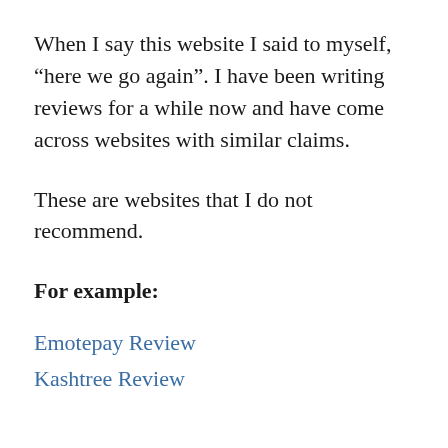When I say this website I said to myself, “here we go again”. I have been writing reviews for a while now and have come across websites with similar claims.
These are websites that I do not recommend.
For example:
Emotepay Review
Kashtree Review